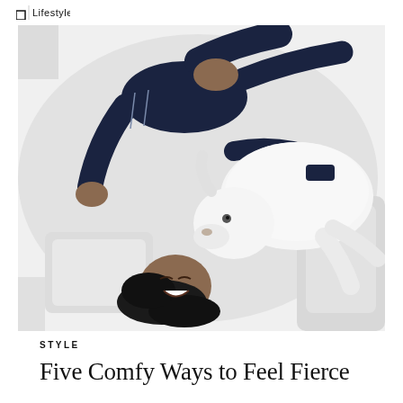[Figure (photo): Overhead view of a person lying on a white bed wearing dark navy satin pajamas, cuddling with a white dog (husky). The person's head is at the bottom, hair spread out, face turned toward the dog. White bedding and pillows surround them. The photo is taken from directly above.]
STYLE
Five Comfy Ways to Feel Fierce